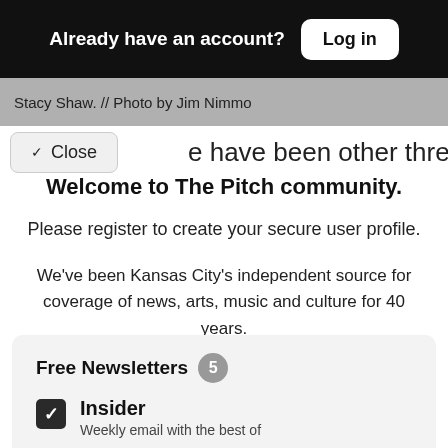Already have an account? Log in
Stacy Shaw. // Photo by Jim Nimmo
have been other threats more serious
Welcome to The Pitch community.
Please register to create your secure user profile.
We've been Kansas City's independent source for coverage of news, arts, music and culture for 40 years.
Free Newsletters 5
Insider
Weekly email with the best of